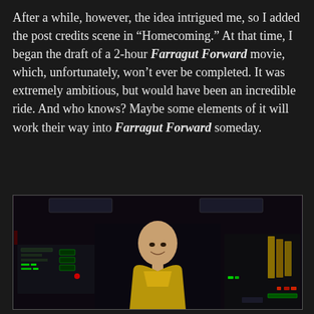After a while, however, the idea intrigued me, so I added the post credits scene in “Homecoming.” At that time, I began the draft of a 2-hour Farragut Forward movie, which, unfortunately, won’t ever be completed. It was extremely ambitious, but would have been an incredible ride. And who knows? Maybe some elements of it will work their way into Farragut Forward someday.
[Figure (photo): A smiling man in a gold/yellow sleeveless shirt seated at a Star Trek style bridge console with colorful panels and lights in the background.]